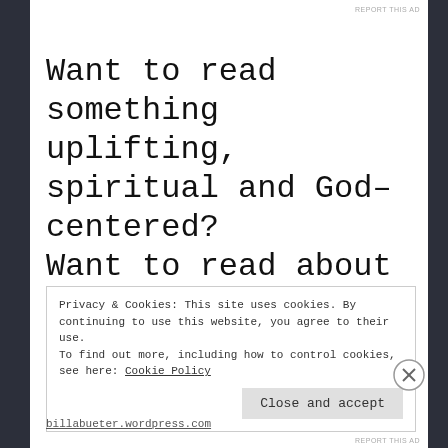REPORT THIS AD
Want to read something uplifting, spiritual and God–centered?
Want to read about the
Privacy & Cookies: This site uses cookies. By continuing to use this website, you agree to their use.
To find out more, including how to control cookies, see here: Cookie Policy
Close and accept
REPORT THIS AD